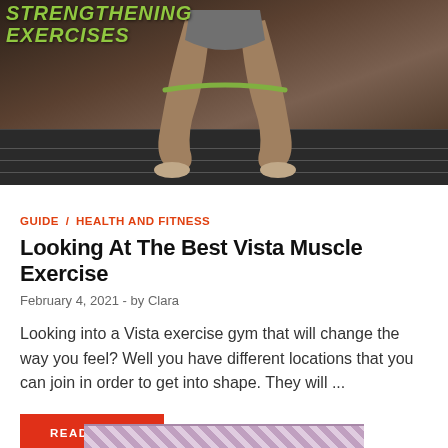[Figure (photo): Person doing resistance band exercise (squatting position), with partial text overlay reading 'STRENGTHENING EXERCISES' in green on dark background]
GUIDE / HEALTH AND FITNESS
Looking At The Best Vista Muscle Exercise
February 4, 2021  -  by Clara
Looking into a Vista exercise gym that will change the way you feel? Well you have different locations that you can join in order to get into shape. They will ...
READ MORE